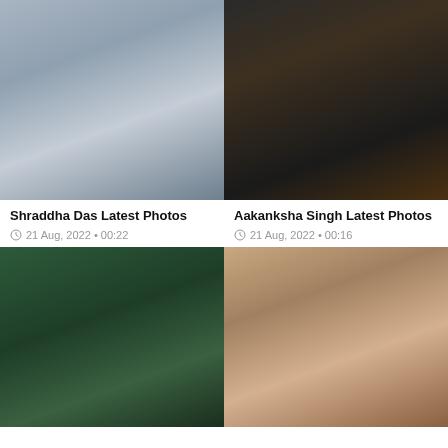[Figure (photo): Woman in grey blazer - Shraddha Das]
[Figure (photo): Woman in black feather outfit - Aakanksha Singh]
Shraddha Das Latest Photos
21 Aug, 2022 • 00:22
Aakanksha Singh Latest Photos
21 Aug, 2022 • 00:16
[Figure (photo): Woman in green outfit]
[Figure (photo): Woman in warm tones, partial shot]